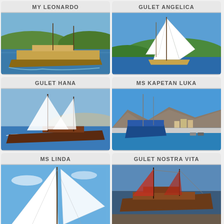[Figure (photo): MY LEONARDO - motorized wooden vessel sailing on blue water with green hills in background]
[Figure (photo): GULET ANGELICA - large white sailboat with full sails deployed near green hillside]
[Figure (photo): GULET HANA - dark wooden gulet sailboat with white sails on blue water]
[Figure (photo): MS KAPETAN LUKA - vessel moored at harbor dock with hillside town in background]
[Figure (photo): MS LINDA - white sailboat sails close-up against blue sky]
[Figure (photo): GULET NOSTRA VITA - traditional wooden gulet with red sails at harbor]